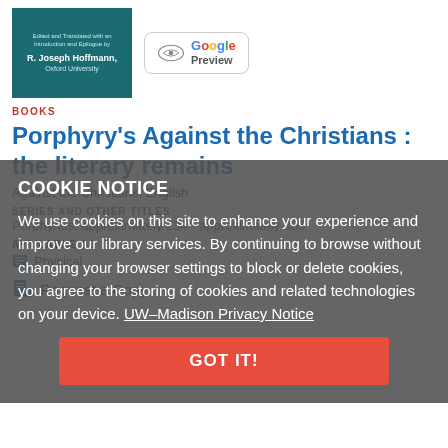[Figure (photo): Book cover with teal background showing R. Joseph Hoffmann, Oxford University text]
[Figure (logo): Google Preview button/logo with book icon]
BOOKS
Porphyry's Against the Christians : the literary remains
Against the Christians. English
SERIES AND OTHER TITLES
Porphyrius, approximately 234 - approximately 305
AVAILABLE AS
Physical
Request a Copy
COOKIE NOTICE
We use cookies on this site to enhance your experience and improve our library services. By continuing to browse without changing your browser settings to block or delete cookies, you agree to the storing of cookies and related technologies on your device. UW–Madison Privacy Notice
GOT IT!